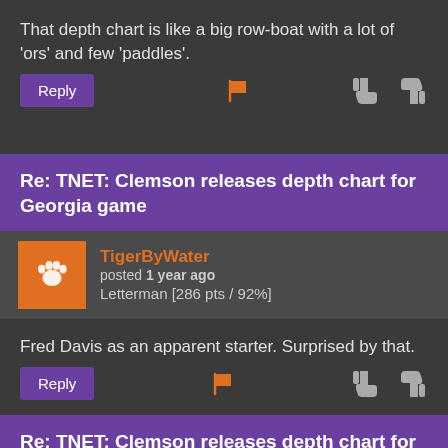That depth chart is like a big row-boat with a lot of 'ors' and few 'paddles'.
Reply [flag] [thumbs down] [thumbs up]
Re: TNET: Clemson releases depth chart for Georgia game
TigerByWater posted 1 year ago
Letterman [286 pts / 92%]
Fred Davis as an apparent starter. Surprised by that.
Reply [flag] [thumbs down] [thumbs up]
Re: TNET: Clemson releases depth chart for Georgia game